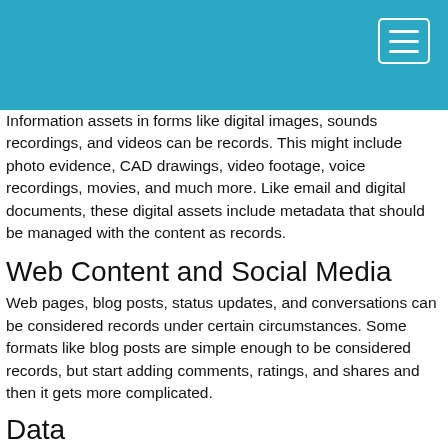Information assets in forms like digital images, sounds recordings, and videos can be records. This might include photo evidence, CAD drawings, video footage, voice recordings, movies, and much more. Like email and digital documents, these digital assets include metadata that should be managed with the content as records.
Web Content and Social Media
Web pages, blog posts, status updates, and conversations can be considered records under certain circumstances. Some formats like blog posts are simple enough to be considered records, but start adding comments, ratings, and shares and then it gets more complicated.
Data
What about structured data inside relational database management systems, NoSQL databases, XML files, and other structures? Can these be considered records? The real question is: if information inside databases is valuable or regulated, how can you not manage the data as records?
6 Considerations for Archiving Data as